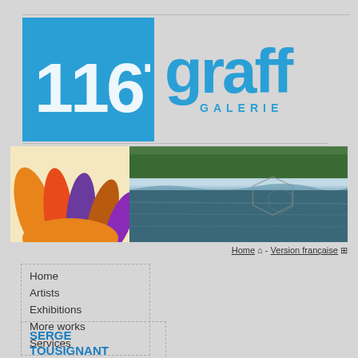[Figure (logo): Graff Galerie logo: blue square with graffiti-style white numbers/letters on left, 'graff' in large blue graffiti font with 'GALERIE' subtitle on right]
[Figure (photo): Two banner photos side by side: left shows colorful painted hand artwork in orange, red, purple; right shows a scenic lake reflection with forest and geometric overlay]
Home ⌂ - Version française ⊞
Home
Artists
Exhibitions
More works
Services
SERGE TOUSIGNANT
©ART GALLERY